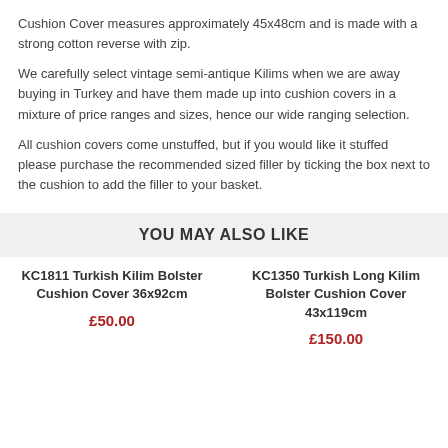Cushion Cover measures approximately 45x48cm and is made with a strong cotton reverse with zip.
We carefully select vintage semi-antique Kilims when we are away buying in Turkey and have them made up into cushion covers in a mixture of price ranges and sizes, hence our wide ranging selection.
All cushion covers come unstuffed, but if you would like it stuffed please purchase the recommended sized filler by ticking the box next to the cushion to add the filler to your basket.
YOU MAY ALSO LIKE
KC1811 Turkish Kilim Bolster Cushion Cover 36x92cm
£50.00
KC1350 Turkish Long Kilim Bolster Cushion Cover 43x119cm
£150.00